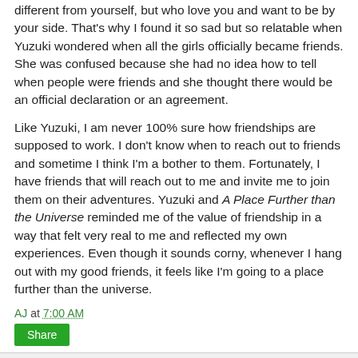different from yourself, but who love you and want to be by your side. That's why I found it so sad but so relatable when Yuzuki wondered when all the girls officially became friends. She was confused because she had no idea how to tell when people were friends and she thought there would be an official declaration or an agreement.
Like Yuzuki, I am never 100% sure how friendships are supposed to work. I don't know when to reach out to friends and sometime I think I'm a bother to them. Fortunately, I have friends that will reach out to me and invite me to join them on their adventures. Yuzuki and A Place Further than the Universe reminded me of the value of friendship in a way that felt very real to me and reflected my own experiences. Even though it sounds corny, whenever I hang out with my good friends, it feels like I'm going to a place further than the universe.
AJ at 7:00 AM
Share
2 comments: